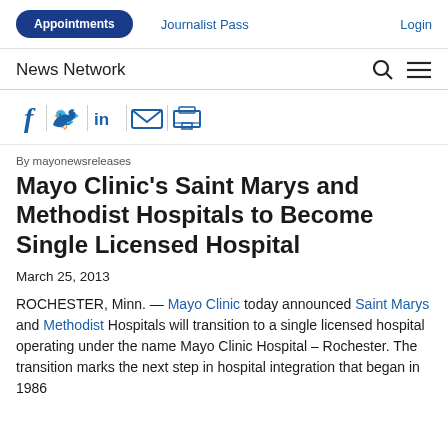Appointments | Journalist Pass | Login
News Network
[Figure (other): Social sharing icons: Facebook, Twitter, LinkedIn, Email, Print]
By mayonewsreleases
Mayo Clinic's Saint Marys and Methodist Hospitals to Become Single Licensed Hospital
March 25, 2013
ROCHESTER, Minn. — Mayo Clinic today announced Saint Marys and Methodist Hospitals will transition to a single licensed hospital operating under the name Mayo Clinic Hospital – Rochester. The transition marks the next step in hospital integration that began in 1986